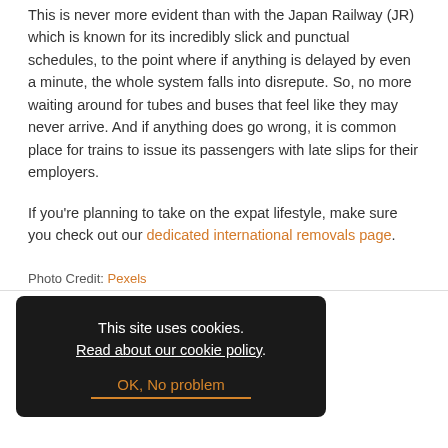This is never more evident than with the Japan Railway (JR) which is known for its incredibly slick and punctual schedules, to the point where if anything is delayed by even a minute, the whole system falls into disrepute. So, no more waiting around for tubes and buses that feel like they may never arrive. And if anything does go wrong, it is common place for trains to issue its passengers with late slips for their employers.
If you're planning to take on the expat lifestyle, make sure you check out our dedicated international removals page.
Photo Credit: Pexels
Related posts:
1. Dream expat destinations
This site uses cookies. Read about our cookie policy. OK, No problem